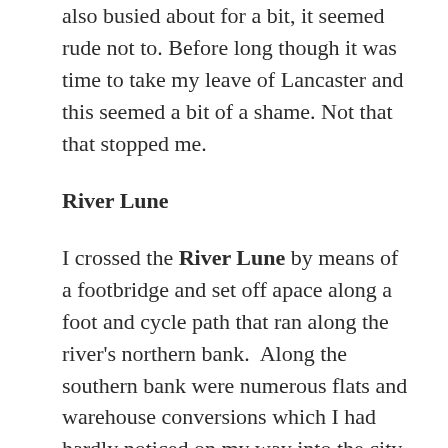also busied about for a bit, it seemed rude not to. Before long though it was time to take my leave of Lancaster and this seemed a bit of a shame. Not that that stopped me.
River Lune
I crossed the River Lune by means of a footbridge and set off apace along a foot and cycle path that ran along the river's northern bank.  Along the southern bank were numerous flats and warehouse conversions which I had hardly noticed on my way into the city, despite passing right by their doors.  They looked much like flats and warehouse conversions often do.